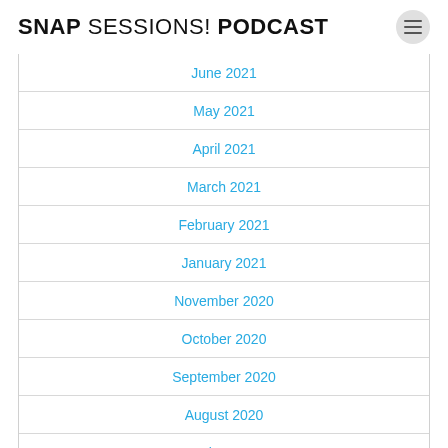SNAP SESSIONS! PODCAST
June 2021
May 2021
April 2021
March 2021
February 2021
January 2021
November 2020
October 2020
September 2020
August 2020
July 2020